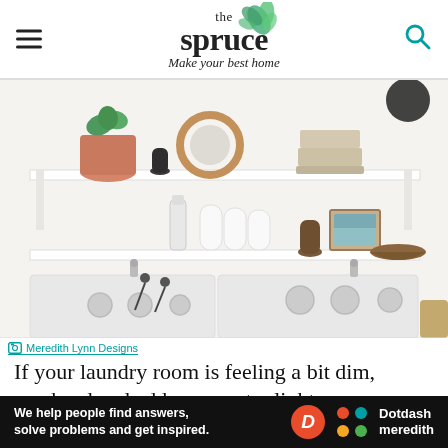the spruce — Make your best home
[Figure (photo): A bright, organized laundry room with white shelving holding decorative items including a plant in a terracotta pot, a rattan mirror, candles, a framed landscape print, and a wooden bowl. Below the shelf hangs a black wire clothing hanger on the left. White washer and dryer appliances sit side by side beneath the shelf.]
Meredith Lynn Designs
If your laundry room is feeling a bit dim, go ahead and add some extra light—perhaps in
We help people find answers, solve problems and get inspired. Dotdash meredith